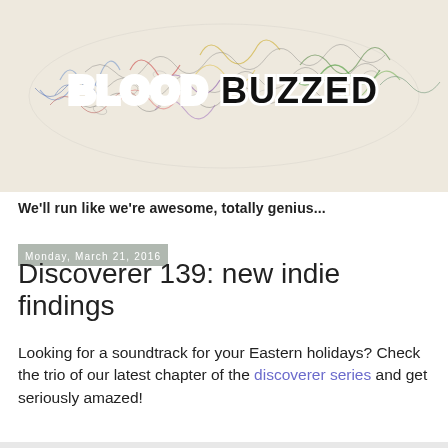[Figure (illustration): Blog banner image with colorful scribble/doodle artwork on a beige background with 'BLOOD BUZZED' text overlay in bold black and white lettering]
We'll run like we're awesome, totally genius...
Monday, March 21, 2016
Discoverer 139: new indie findings
Looking for a soundtrack for your Eastern holidays? Check the trio of our latest chapter of the discoverer series and get seriously amazed!